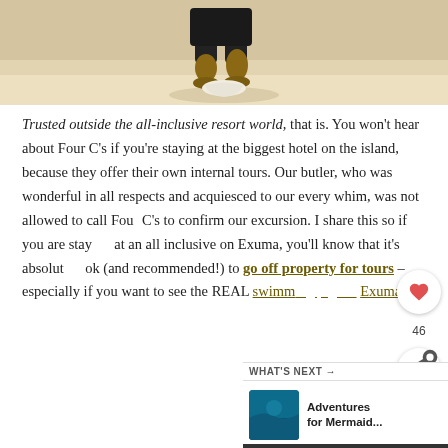[Figure (photo): Person bending down on a white sandy beach, legs and shorts visible, bright sandy beach background]
Trusted outside the all-inclusive resort world, that is. You won't hear about Four C's if you're staying at the biggest hotel on the island, because they offer their own internal tours. Our butler, who was wonderful in all respects and acquiesced to our every whim, was not allowed to call Four C's to confirm our excursion. I share this so if you are staying at an all inclusive on Exuma, you'll know that it's absolutely ok (and recommended!) to go off property for tours – especially if you want to see the REAL swimming pigs in Exuma.